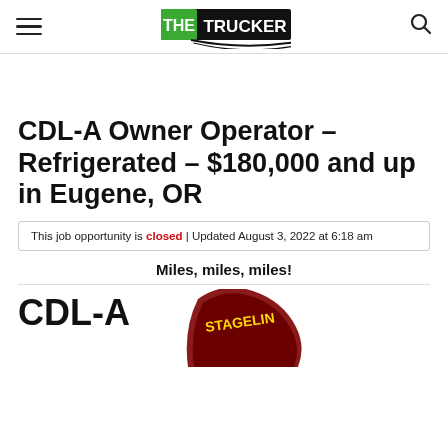THE TRUCKER [navigation header with hamburger menu, logo, and search icon]
CDL-A Owner Operator – Refrigerated – $180,000 and up in Eugene, OR
This job opportunity is closed | Updated August 3, 2022 at 6:18 am
Miles, miles, miles!
CDL-A
[Figure (logo): Stageline company logo — partial circular badge in dark red/maroon with text STAGELIN visible]